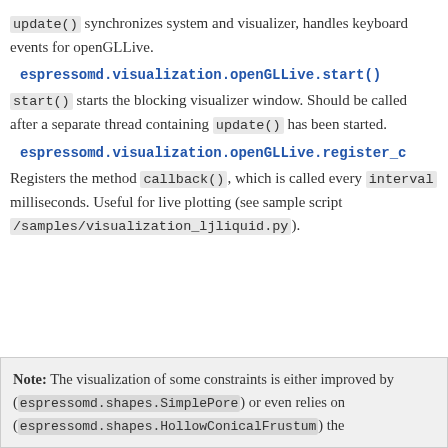update() synchronizes system and visualizer, handles keyboard events for openGLLive.
espressomd.visualization.openGLLive.start()
start() starts the blocking visualizer window. Should be called after a separate thread containing update() has been started.
espressomd.visualization.openGLLive.register_c
Registers the method callback(), which is called every interval milliseconds. Useful for live plotting (see sample script /samples/visualization_ljliquid.py).
Note: The visualization of some constraints is either improved by (espressomd.shapes.SimplePore) or even relies on (espressomd.shapes.HollowConicalFrustum) the